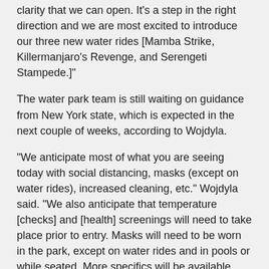clarity that we can open. It's a step in the right direction and we are most excited to introduce our three new water rides [Mamba Strike, Killermanjaro's Revenge, and Serengeti Stampede.]"
The water park team is still waiting on guidance from New York state, which is expected in the next couple of weeks, according to Wojdyla.
“We anticipate most of what you are seeing today with social distancing, masks (except on water rides), increased cleaning, etc.” Wojdyla said. “We also anticipate that temperature [checks] and [health] screenings will need to take place prior to entry. Masks will need to be worn in the park, except on water rides and in pools or while seated. More specifics will be available once we have the guidelines.”